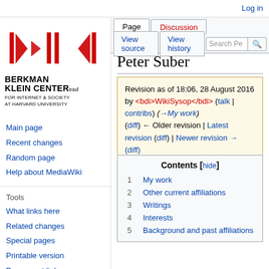Log in
[Figure (logo): Berkman Klein Center for Internet & Society at Harvard University logo with red arrows and vertical bars]
Main page
Recent changes
Random page
Help about MediaWiki
Tools
What links here
Related changes
Special pages
Printable version
Permanent link
Page information
Peter Suber
Revision as of 18:06, 28 August 2016 by WikiSysop (talk | contribs) (→My work) (diff) ← Older revision | Latest revision (diff) | Newer revision → (diff)
| # | Section |
| --- | --- |
| 1 | My work |
| 2 | Other current affiliations |
| 3 | Writings |
| 4 | Interests |
| 5 | Background and past affiliations |